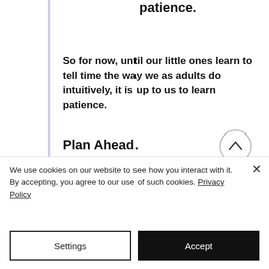patience.
So for now, until our little ones learn to tell time the way we as adults do intuitively, it is up to us to learn patience.
Plan Ahead.
Planning ahead for our important appointments, or
We use cookies on our website to see how you interact with it. By accepting, you agree to our use of such cookies. Privacy Policy
Settings
Accept